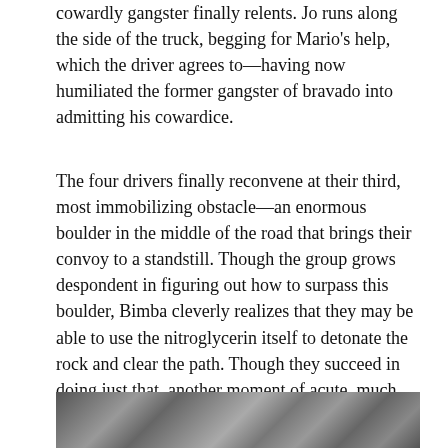cowardly gangster finally relents. Jo runs along the side of the truck, begging for Mario's help, which the driver agrees to—having now humiliated the former gangster of bravado into admitting his cowardice.
The four drivers finally reconvene at their third, most immobilizing obstacle—an enormous boulder in the middle of the road that brings their convoy to a standstill. Though the group grows despondent in figuring out how to surpass this boulder, Bimba cleverly realizes that they may be able to use the nitroglycerin itself to detonate the rock and clear the path. Though they succeed in doing just that, another moment of acute, much more extreme tension arises when they realize that they may not have backed up the trucks far enough from any flying debris that would cause certain explosion upon impact. Luckily, the falling debris manages to miss the trucks and the quartet survives.
[Figure (photo): Black and white photograph, partially visible at the bottom of the page.]